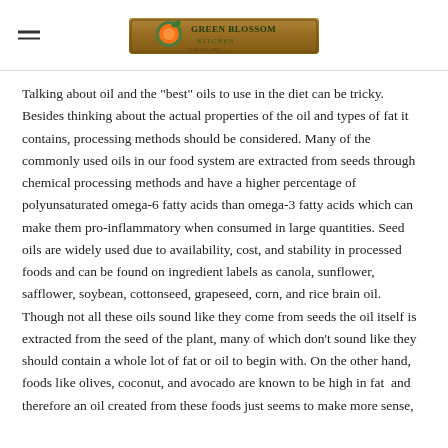Green Blossom [logo]
Talking about oil and the "best" oils to use in the diet can be tricky. Besides thinking about the actual properties of the oil and types of fat it contains, processing methods should be considered. Many of the commonly used oils in our food system are extracted from seeds through chemical processing methods and have a higher percentage of polyunsaturated omega-6 fatty acids than omega-3 fatty acids which can make them pro-inflammatory when consumed in large quantities. Seed oils are widely used due to availability, cost, and stability in processed foods and can be found on ingredient labels as canola, sunflower, safflower, soybean, cottonseed, grapeseed, corn, and rice brain oil. Though not all these oils sound like they come from seeds the oil itself is extracted from the seed of the plant, many of which don't sound like they should contain a whole lot of fat or oil to begin with. On the other hand, foods like olives, coconut, and avocado are known to be high in fat  and therefore an oil created from these foods just seems to make more sense,